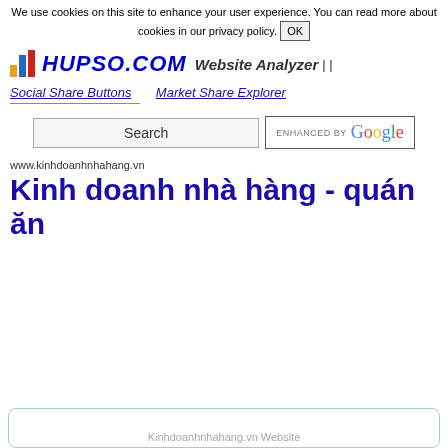We use cookies on this site to enhance your user experience. You can read more about cookies in our privacy policy. OK
HUPSO.COM Website Analyzer | |
Social Share Buttons   Market Share Explorer
Search   ENHANCED BY Google
www.kinhdoanhnhahang.vn
Kinh doanh nhà hàng - quán ăn
Kinhdoanhnhahang.vn Website